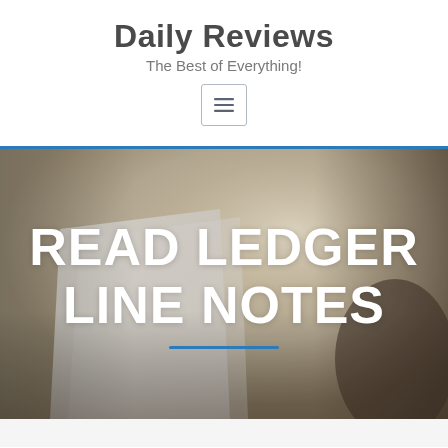Daily Reviews
The Best of Everything!
[Figure (other): Menu/hamburger icon button with three horizontal lines inside a rounded rectangle border]
[Figure (photo): Blurred photo of papers/ledger with warm bokeh background. Large white bold text overlay reads READ LEDGER LINE NOTES with a blue underline below.]
READ LEDGER LINE NOTES